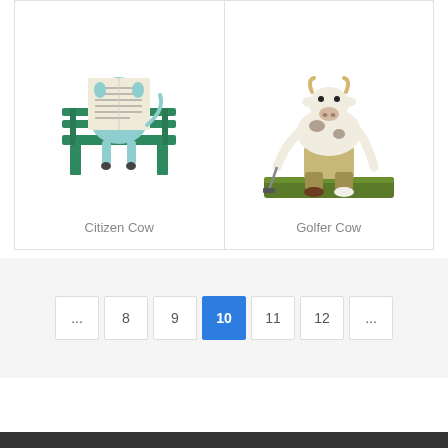[Figure (photo): Citizen Cow figurine - a cow sitting on a green bench reading a newspaper, painted in light blue/teal color]
Citizen Cow
[Figure (photo): Golfer Cow figurine - a cow dressed in golf attire (khaki pants, shoes) in a putting stance on a grass base]
Golfer Cow
...
8
9
10
11
12
...